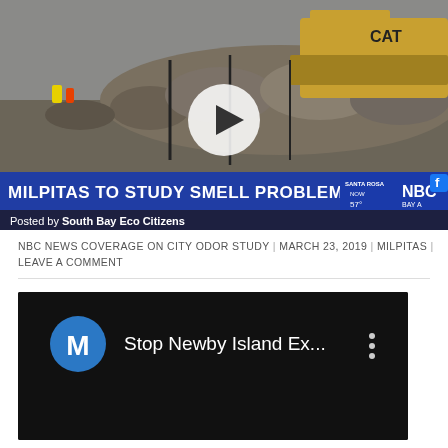[Figure (screenshot): NBC News video thumbnail showing a landfill site with a CAT bulldozer and debris, with a play button overlay. News lower-third reads 'MILPITAS TO STUDY SMELL PROBLEM' with NBC Bay Area branding. Bottom overlay reads 'Posted by South Bay Eco Citizens' and 'NBCBAYAREA.COM'.]
NBC NEWS COVERAGE ON CITY ODOR STUDY | MARCH 23, 2019 | MILPITAS | LEAVE A COMMENT
[Figure (screenshot): Dark YouTube video embed thumbnail showing a blue circle avatar with letter M and text 'Stop Newby Island Ex...' with three-dot menu icon.]